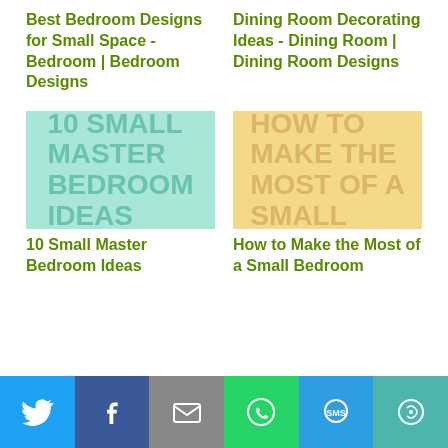Best Bedroom Designs for Small Space - Bedroom | Bedroom Designs
Dining Room Decorating Ideas - Dining Room | Dining Room Designs
[Figure (illustration): Teal/mint colored image with large text reading '10 SMALL MASTER BEDROOM IDEAS']
10 Small Master Bedroom Ideas
[Figure (illustration): Yellow/gold colored image with large text reading 'HOW TO MAKE THE MOST OF A SMALL']
How to Make the Most of a Small Bedroom
Twitter, Facebook, Email, WhatsApp, SMS, More sharing buttons